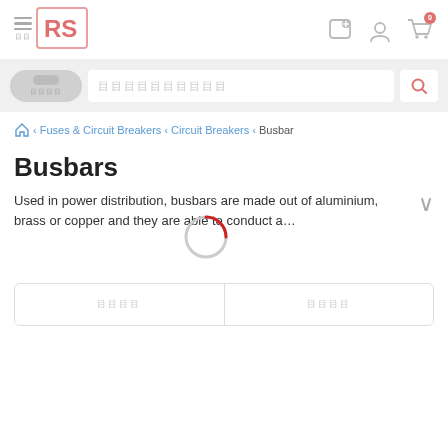[Figure (logo): RS Components logo - pink/red RS letters in a box]
Navigation header with hamburger menu, RS logo, location pin icon, user account icon, cart icon with badge 0
[Figure (screenshot): Search bar with category button and search input field]
Fuses & Circuit Breakers > Circuit Breakers > Busbars breadcrumb navigation
Busbars
Used in power distribution, busbars are made out of aluminium, brass or copper and they are able to conduct a...
[Figure (infographic): Loading spinner overlay with red arc and grey circle]
Tab row with two placeholder tab buttons (loading state)